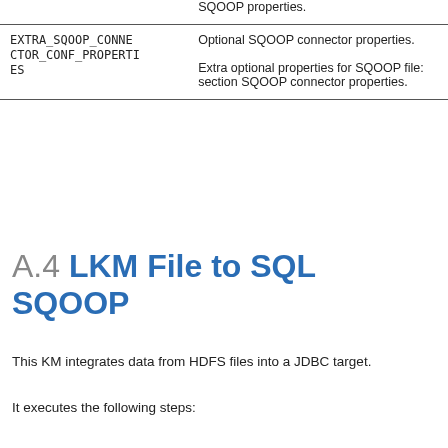|  |  |
| --- | --- |
|  | SQOOP properties. |
| EXTRA_SQOOP_CONNECTOR_CONF_PROPERTIES | Optional SQOOP connector properties.

Extra optional properties for SQOOP file: section SQOOP connector properties. |
A.4 LKM File to SQL SQOOP
This KM integrates data from HDFS files into a JDBC target.
It executes the following steps: